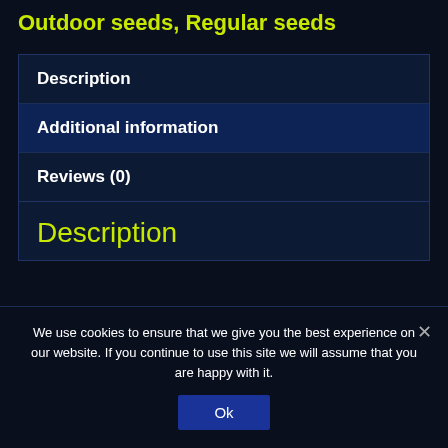Outdoor seeds, Regular seeds
Description
Additional information
Reviews (0)
Description
We use cookies to ensure that we give you the best experience on our website. If you continue to use this site we will assume that you are happy with it.